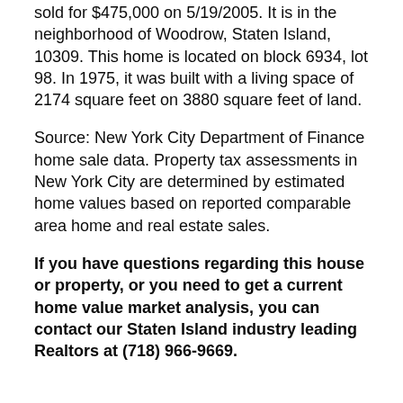sold for $475,000 on 5/19/2005. It is in the neighborhood of Woodrow, Staten Island, 10309. This home is located on block 6934, lot 98. In 1975, it was built with a living space of 2174 square feet on 3880 square feet of land.
Source: New York City Department of Finance home sale data. Property tax assessments in New York City are determined by estimated home values based on reported comparable area home and real estate sales.
If you have questions regarding this house or property, or you need to get a current home value market analysis, you can contact our Staten Island industry leading Realtors at (718) 966-9669.